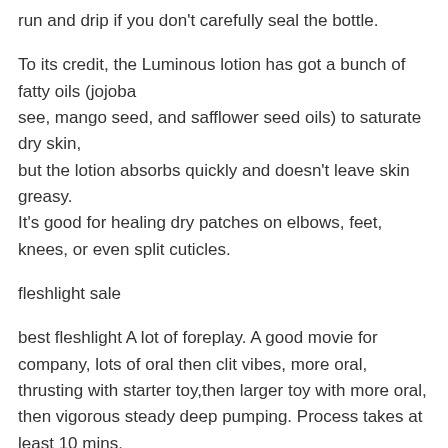run and drip if you don't carefully seal the bottle.
To its credit, the Luminous lotion has got a bunch of fatty oils (jojoba see, mango seed, and safflower seed oils) to saturate dry skin, but the lotion absorbs quickly and doesn't leave skin greasy. It's good for healing dry patches on elbows, feet, knees, or even split cuticles.
fleshlight sale
best fleshlight A lot of foreplay. A good movie for company, lots of oral then clit vibes, more oral, thrusting with starter toy,then larger toy with more oral, then vigorous steady deep pumping. Process takes at least 10 mins. Admit it you're not exactly surprised to see this book